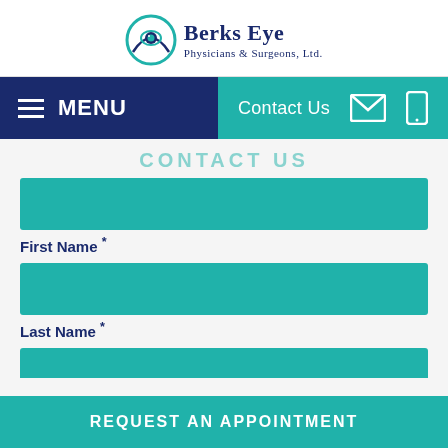[Figure (logo): Berks Eye Physicians & Surgeons, Ltd. logo with teal eye/circle icon and dark blue serif text]
MENU  Contact Us
CONTACT US
First Name *
Last Name *
REQUEST AN APPOINTMENT